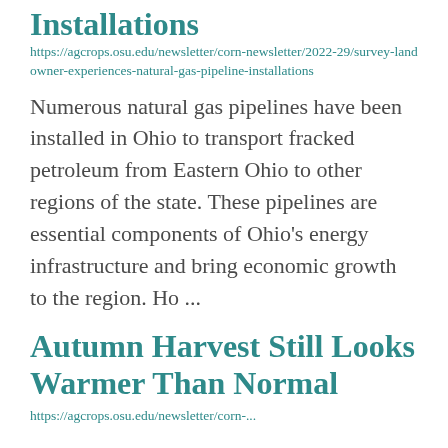... Landowner Experiences with Natural Gas Pipeline Installations
https://agcrops.osu.edu/newsletter/corn-newsletter/2022-29/survey-landowner-experiences-natural-gas-pipeline-installations
Numerous natural gas pipelines have been installed in Ohio to transport fracked petroleum from Eastern Ohio to other regions of the state. These pipelines are essential components of Ohio's energy infrastructure and bring economic growth to the region. Ho ...
Autumn Harvest Still Looks Warmer Than Normal
https://agcrops.osu.edu/newsletter/corn-...